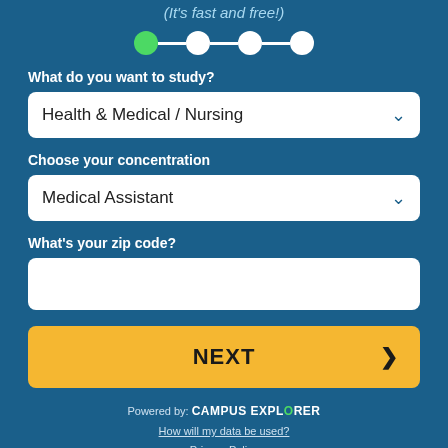(It's fast and free!)
[Figure (infographic): Progress step indicator with 4 circles connected by lines; first circle is green (active), remaining three are white]
What do you want to study?
Health & Medical / Nursing
Choose your concentration
Medical Assistant
What's your zip code?
NEXT
Powered by: CAMPUS EXPLORER
How will my data be used?
Privacy Policy